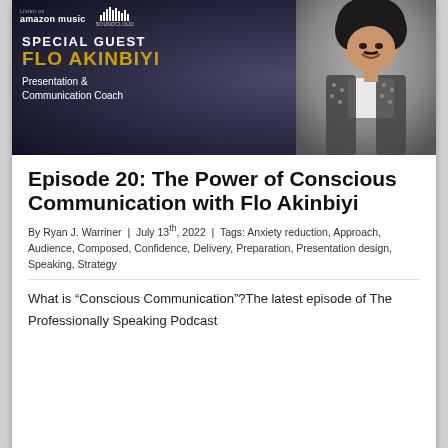[Figure (photo): Podcast promotional banner with Special Guest Flo Akinbiyi, Presentation & Communication Coach, with Amazon Music and SoundCloud logos, dark blue/grey background with photo of a smiling man]
Episode 20: The Power of Conscious Communication with Flo Akinbiyi
By Ryan J. Warriner | July 13th, 2022 | Tags: Anxiety reduction, Approach, Audience, Composed, Confidence, Delivery, Preparation, Presentation design, Speaking, Strategy
What is “Conscious Communication”?The latest episode of The Professionally Speaking Podcast